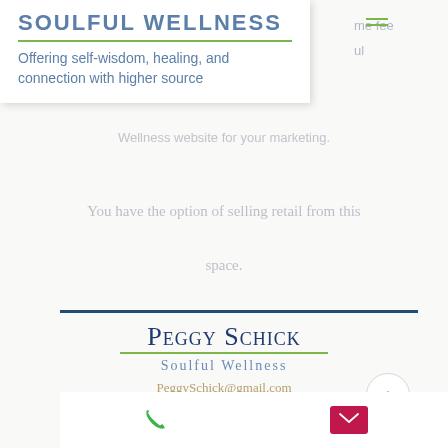Soulful Wellness
Offering self-wisdom, healing, and connection with higher source
Wellness website for your marketing.
You have the option of selling retail from this space.
Peggy Schick
Soulful Wellness
PeggySchick@gmail.com
SoulfulWellnessMaine@gmail.com
www.SoulfulWellness.net